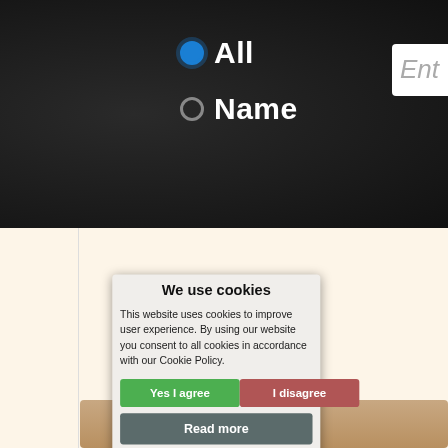[Figure (screenshot): Website header with dark background showing radio buttons: 'All' (selected, blue) and 'Name' (unselected, white), and a search box partially visible on the right edge]
[Figure (screenshot): Web page content area with cream/beige background showing y-axis labels: 800, 1000, 1200, 1400, 1600, 1800, 2000 with horizontal gridlines, and a red dot marker near the 1600 level]
We use cookies
This website uses cookies to improve user experience. By using our website you consent to all cookies in accordance with our Cookie Policy.
Yes I agree
I disagree
Read more
Free cookie consent by cookie-script.com